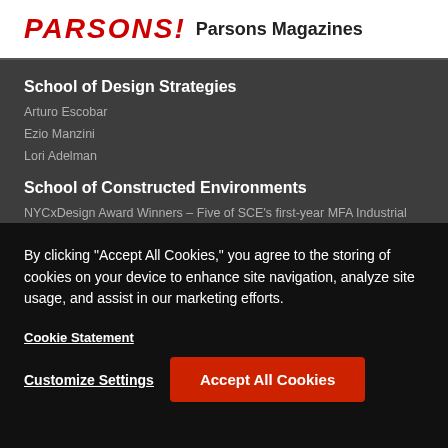PARSONS! Parsons Magazines
School of Design Strategies
Arturo Escobar
Ezio Manzini
Lori Adelman
School of Constructed Environments
NYCxDesign Award Winners – Five of SCE's first-year MFA Industrial Design students have won in the "student" category
The Radically Inclusive Studio: an open access conversation between New York, Cape Town, and Brisbane, co-authored chapter contribution by Michele Gorman
MFA ID Director, Michele Gorman, selected as advisor for
By clicking “Accept All Cookies,” you agree to the storing of cookies on your device to enhance site navigation, analyze site usage, and assist in our marketing efforts.
Cookie Statement
Customize Settings
Accept All Cookies